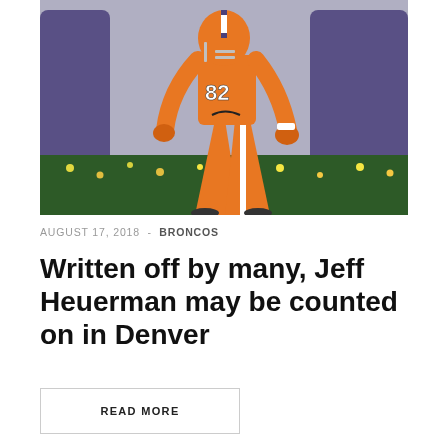[Figure (photo): Football player in orange Denver Broncos uniform, number 82, running or posing on field with decorative greenery in background and purple lettering visible behind]
AUGUST 17, 2018 - BRONCOS
Written off by many, Jeff Heuerman may be counted on in Denver
READ MORE